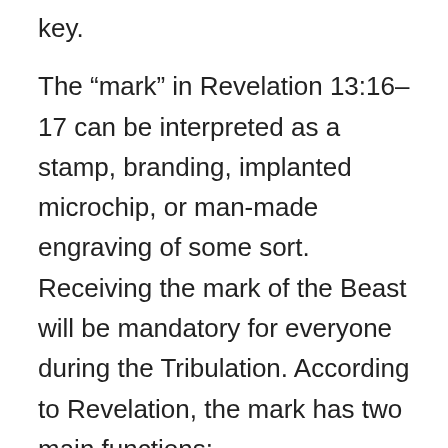key.
The “mark” in Revelation 13:16–17 can be interpreted as a stamp, branding, implanted microchip, or man-made engraving of some sort. Receiving the mark of the Beast will be mandatory for everyone during the Tribulation. According to Revelation, the mark has two main functions:
Identification. It identifies the people who show loyalty to the mission and work of the Antichrist. Those with the mark accept his aim to unify the nations under his administration and force everyone to worship